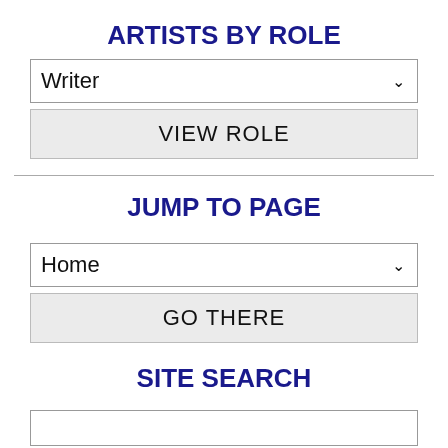ARTISTS BY ROLE
Writer
VIEW ROLE
JUMP TO PAGE
Home
GO THERE
SITE SEARCH